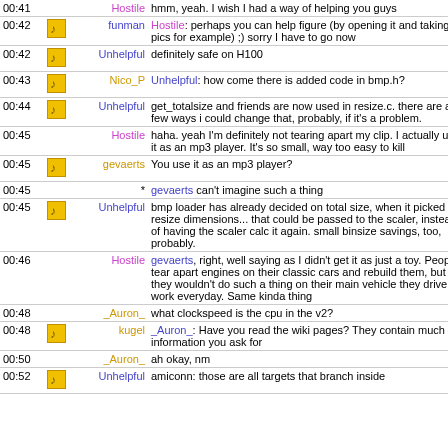| Time | Icon | Nick | Message |
| --- | --- | --- | --- |
| 00:41 |  | Hostile | hmm, yeah. I wish I had a way of helping you guys |
| 00:42 | [icon] | funman | Hostile: perhaps you can help figure (by opening it and taking pics for example) ;) sorry I have to go now |
| 00:42 | [icon] | Unhelpful | definitely safe on H100 |
| 00:43 | [icon] | Nico_P | Unhelpful: how come there is added code in bmp.h? |
| 00:44 | [icon] | Unhelpful | get_totalsize and friends are now used in resize.c. there are a few ways i could change that, probably, if it's a problem. |
| 00:45 |  | Hostile | haha. yeah I'm definitely not tearing apart my clip. I actually use it as an mp3 player. It's so small, way too easy to kill |
| 00:45 | [icon] | gevaerts | You use it as an mp3 player? |
| 00:45 |  | * | gevaerts can't imagine such a thing |
| 00:45 | [icon] | Unhelpful | bmp loader has already decided on total size, when it picked resize dimensions... that could be passed to the scaler, instead of having the scaler calc it again. small binsize savings, too, probably. |
| 00:46 |  | Hostile | gevaerts, right, well saying as I didn't get it as just a toy. People tear apart engines on their classic cars and rebuild them, but they wouldn't do such a thing on their main vehicle they drive to work everyday. Same kinda thing |
| 00:48 |  | _Auron_ | what clockspeed is the cpu in the v2? |
| 00:48 | [icon] | kugel | _Auron_: Have you read the wiki pages? They contain much information you ask for |
| 00:50 |  | _Auron_ | ah okay, nm |
| 00:52 | [icon] | Unhelpful | amiconn: those are all targets that branch inside |